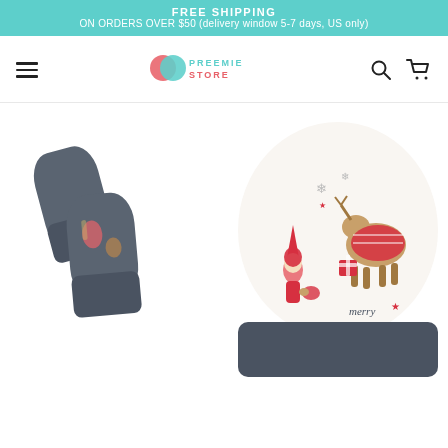FREE SHIPPING
ON ORDERS OVER $50 (delivery window 5-7 days, US only)
[Figure (screenshot): Preemie Store website navigation bar with hamburger menu, Preemie Store logo (two overlapping hearts in pink/teal), search icon, and cart icon]
[Figure (photo): Baby preemie accessories: on the left, gray and Christmas-themed mittens/scratch mitts; on the right, a baby hat with Christmas characters (reindeer, gnomes, birds) and 'merry' text, with a dark gray cuff band]